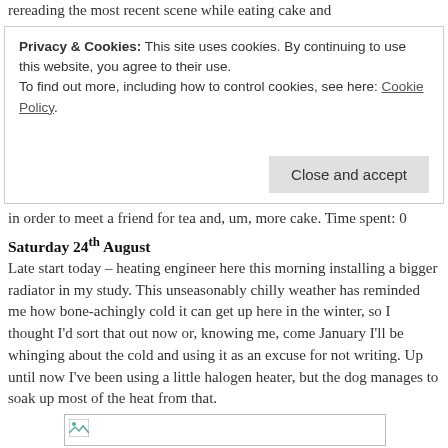rereading the most recent scene while eating cake and
Privacy & Cookies: This site uses cookies. By continuing to use this website, you agree to their use. To find out more, including how to control cookies, see here: Cookie Policy
Close and accept
in order to meet a friend for tea and, um, more cake. Time spent: 0
Saturday 24th August
Late start today – heating engineer here this morning installing a bigger radiator in my study. This unseasonably chilly weather has reminded me how bone-achingly cold it can get up here in the winter, so I thought I'd sort that out now or, knowing me, come January I'll be whinging about the cold and using it as an excuse for not writing. Up until now I've been using a little halogen heater, but the dog manages to soak up most of the heat from that.
[Figure (photo): Broken/missing image placeholder]